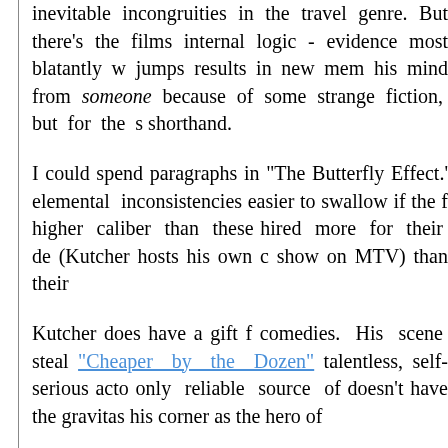inevitable incongruities in the travel genre. But there's the films internal logic - evidence most blatantly w... jumps results in new mem... his mind from someone because of some strange fiction, but for the s shorthand.
I could spend paragraphs in "The Butterfly Effect.' elemental inconsistencies easier to swallow if the f higher caliber than these hired more for their de (Kutcher hosts his own c show on MTV) than their
Kutcher does have a gift f comedies. His scene steal "Cheaper by the Dozen" talentless, self-serious acto only reliable source of doesn't have the gravitas his corner as the hero of